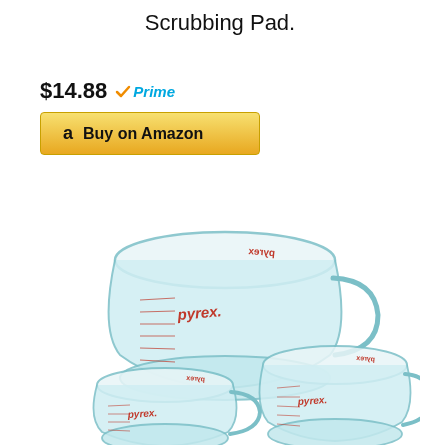Scrubbing Pad.
$14.88 Prime
[Figure (other): Buy on Amazon button with Amazon logo]
[Figure (photo): Three Pyrex glass measuring cups of different sizes shown from above at an angle, with red measurement markings and Pyrex branding. The largest cup is on top, and two smaller cups are below.]